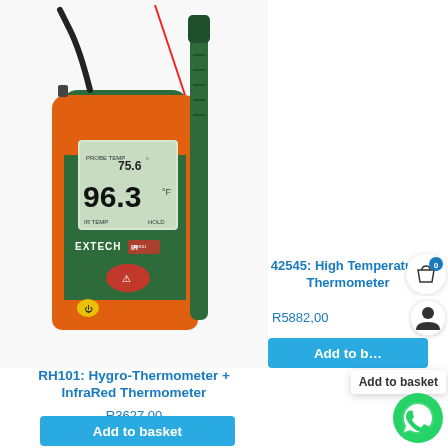[Figure (photo): Extech RH101 Hygro-Thermometer and InfraRed Thermometer device shown with green sensor probe and orange casing, displaying 96.3°F IR TEMP and 75.6°F PROBE TEMP on LCD screen, with red laser line visible. Brand: EXTECH.]
RH101: Hygro-Thermometer + InfraRed Thermometer
R3627,00
Add to basket
42545: High Temperature Thermometer
R5882,00
Add to basket